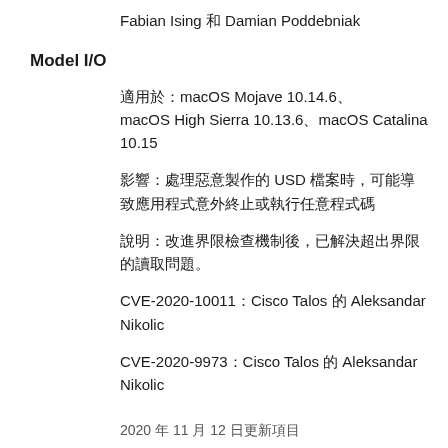Fabian Ising 和 Damian Poddebniak
Model I/O
適用於：macOS Mojave 10.14.6、macOS High Sierra 10.13.6、macOS Catalina 10.15
影響：處理惡意製作的 USD 檔案時，可能導致應用程式意外終止或執行任意程式碼
說明：改進界限檢查機制後，已解決超出界限的讀取問題。
CVE-2020-10011：Cisco Talos 的 Aleksandar Nikolic
CVE-2020-9973：Cisco Talos 的 Aleksandar Nikolic
2020 年 11 月 12 日更新項目